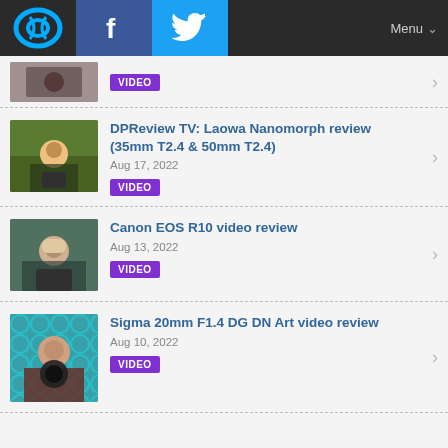Menu
VIDEO (partial item, no title visible)
DPReview TV: Laowa Nanomorph review (35mm T2.4 & 50mm T2.4) · Aug 17, 2022 · VIDEO
Canon EOS R10 video review · Aug 13, 2022 · VIDEO
Sigma 20mm F1.4 DG DN Art video review · Aug 10, 2022 · VIDEO